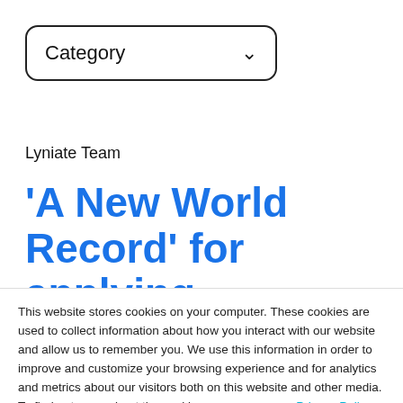[Figure (screenshot): Category dropdown selector with chevron arrow on right]
Lyniate Team
'A New World Record' for applying Windows Updates
This website stores cookies on your computer. These cookies are used to collect information about how you interact with our website and allow us to remember you. We use this information in order to improve and customize your browsing experience and for analytics and metrics about our visitors both on this website and other media. To find out more about the cookies we use, see our Privacy Policy.
[Figure (other): Accept button for cookie consent]